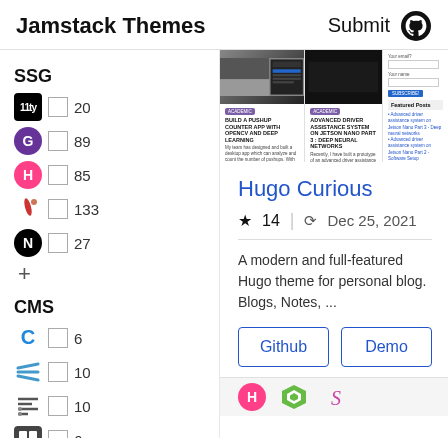Jamstack Themes   Submit
[Figure (screenshot): Thumbnail strip showing three blog/website previews: a coding tutorial with image, a dark-theme tutorial, and a sidebar with Featured Posts]
Hugo Curious
★ 14  |  ⟳ Dec 25, 2021
A modern and full-featured Hugo theme for personal blog. Blogs, Notes, ...
Github
Demo
SSG
11ty  20
G (Gatsby)  89
H (Hugo)  85
Jekyll  133
N (Next)  27
CMS
Contentful  6
Forestry  10
Forestry2  10
Grid CMS  6
Orange CMS  5
Green Diamond  22
[Figure (screenshot): Bottom strip showing Hugo H icon, green diamond icon, and cursive S icon]